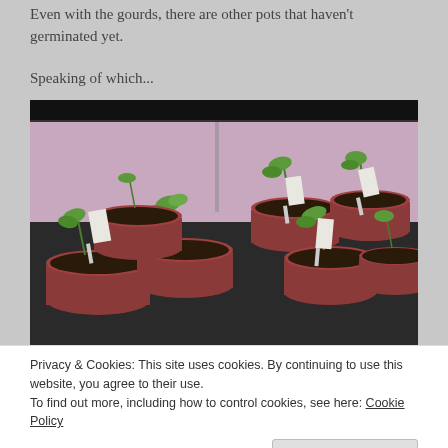Even with the gourds, there are other pots that haven't germinated yet.
Speaking of which...
[Figure (photo): Multiple red plastic cups used as seedling pots, filled with dark soil, with young green seedlings growing and small handwritten label stakes, under a grow light setup with a dark top rail and pink/white walls.]
Privacy & Cookies: This site uses cookies. By continuing to use this website, you agree to their use.
To find out more, including how to control cookies, see here: Cookie Policy
Close and accept
To give them the best chance as survival, the repotted